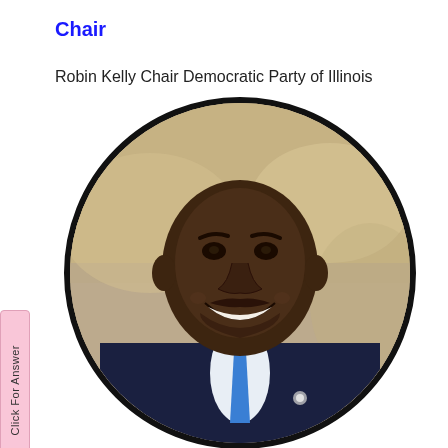Chair
Robin Kelly Chair Democratic Party of Illinois
[Figure (photo): Circular portrait photo of a smiling bald Black man in a dark navy suit with a blue tie and American flag lapel pin, set against a blurred outdoor background.]
Click For Answer